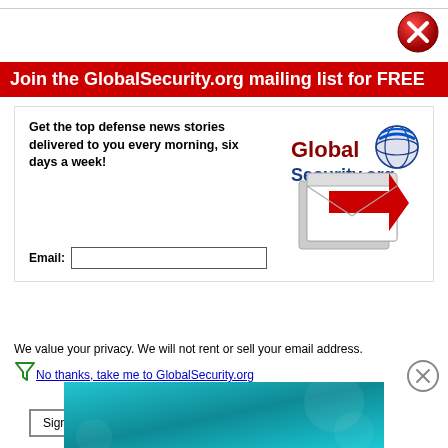[Figure (other): Red circular close/X button in top right corner]
Join the GlobalSecurity.org mailing list for FREE
Get the top defense news stories delivered to you every morning, six days a week!
[Figure (logo): GlobalSecurity.org logo with globe icon]
[Figure (other): Email input field and Sign Up Now button]
[Figure (illustration): Email envelope illustration with red arrow]
We value your privacy. We will not rent or sell your email address.
[Figure (other): Filter/funnel icon]
No thanks, take me to GlobalSecurity.org
[Figure (other): Dismiss circle X button]
[Figure (other): HEADERBIDDING.COM advertisement banner - Your source for all things programmatic advertising.]